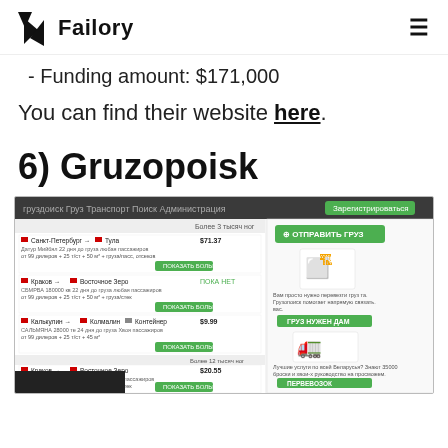Failory
- Funding amount: $171,000
You can find their website here.
6) Gruzopoisk
[Figure (screenshot): Screenshot of the Gruzopoisk website showing a freight/logistics marketplace with listings for cargo routes, prices in USD, and sidebar with truck/warehouse icons and green buttons.]